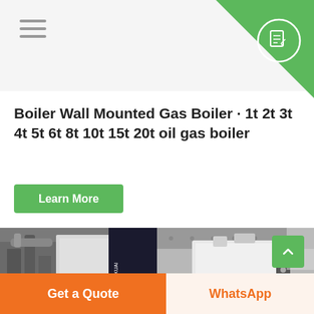Boiler Wall Mounted Gas Boiler · 1t 2t 3t 4t 5t 6t 8t 10t 15t 20t oil gas boiler
Learn More
[Figure (photo): Two industrial gas boilers side by side in a facility. Left photo shows a large industrial boiler with pipes and a FANGKUAI branded unit in a dark setting. Right photo shows a sleek white standalone boiler unit in a clean facility.]
Get a Quote
WhatsApp